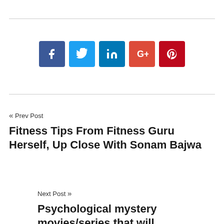[Figure (infographic): Social media share buttons: Facebook (blue), Twitter (light blue), LinkedIn (dark blue), Google+ (red-orange), Pinterest (dark red)]
« Prev Post
Fitness Tips From Fitness Guru Herself, Up Close With Sonam Bajwa
Next Post »
Psychological mystery movies/series that will